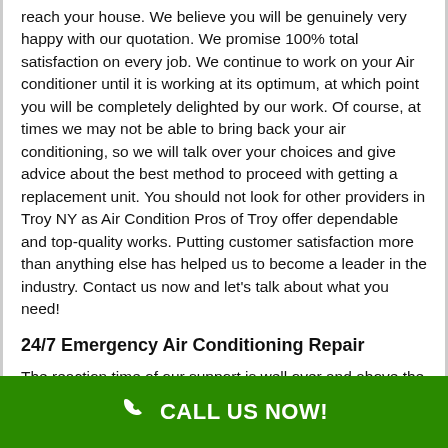reach your house. We believe you will be genuinely very happy with our quotation. We promise 100% total satisfaction on every job. We continue to work on your Air conditioner until it is working at its optimum, at which point you will be completely delighted by our work. Of course, at times we may not be able to bring back your air conditioning, so we will talk over your choices and give advice about the best method to proceed with getting a replacement unit. You should not look for other providers in Troy NY as Air Condition Pros of Troy offer dependable and top-quality works. Putting customer satisfaction more than anything else has helped us to become a leader in the industry. Contact us now and let's talk about what you need!
24/7 Emergency Air Conditioning Repair
The reaction time of our support is well over and above the industry typical. We do our best to immediately attend to your demands because we
CALL US NOW!